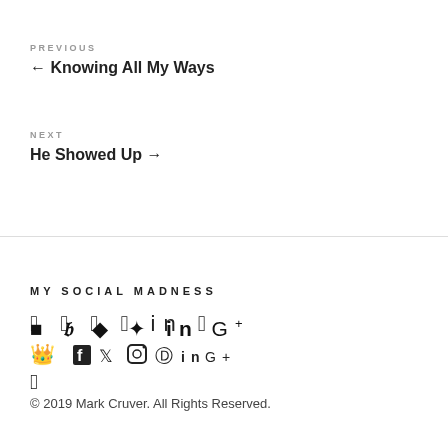PREVIOUS
← Knowing All My Ways
NEXT
He Showed Up →
MY SOCIAL MADNESS
Social media icons: Facebook, Twitter, Instagram, Pinterest, LinkedIn, Google+
© 2019 Mark Cruver. All Rights Reserved.